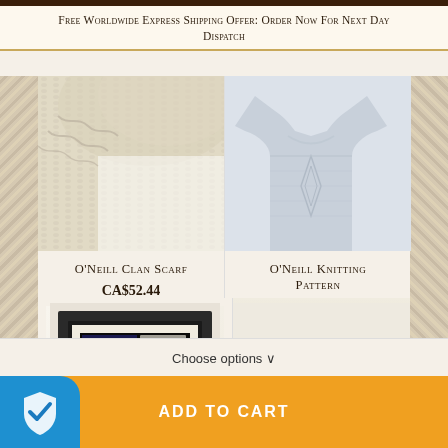Free Worldwide Express Shipping Offer: Order Now For Next Day Dispatch
[Figure (photo): O'Neill Clan Scarf product image - cream/beige knitted textile close-up]
O'Neill Clan Scarf
CA$52.44
[Figure (photo): O'Neill Knitting Pattern product image - light grey cable knit sweater]
O'Neill Knitting Pattern
CA$13.06
[Figure (photo): Framed heraldic print with black frame showing O'Neill clan coat of arms and family history text]
[Figure (photo): Cream/beige knitted poncho or wrap with button closures]
Choose options ∨
ADD TO CART